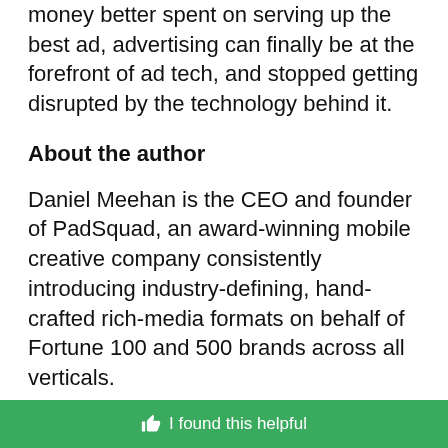money better spent on serving up the best ad, advertising can finally be at the forefront of ad tech, and stopped getting disrupted by the technology behind it.
About the author
Daniel Meehan is the CEO and founder of PadSquad, an award-winning mobile creative company consistently introducing industry-defining, hand-crafted rich-media formats on behalf of Fortune 100 and 500 brands across all verticals.
I found this helpful